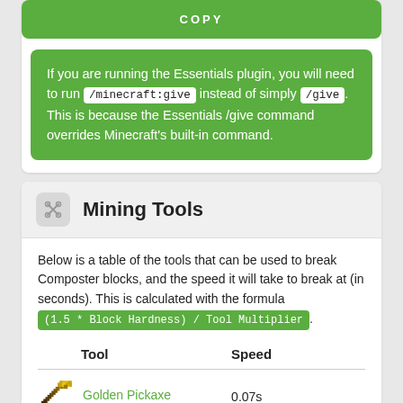COPY
If you are running the Essentials plugin, you will need to run /minecraft:give instead of simply /give. This is because the Essentials /give command overrides Minecraft's built-in command.
Mining Tools
Below is a table of the tools that can be used to break Composter blocks, and the speed it will take to break at (in seconds). This is calculated with the formula (1.5 * Block Hardness) / Tool Multiplier.
| Tool | Speed |
| --- | --- |
| Golden Pickaxe | 0.07s |
| Diamond Pick... | 0.1s |